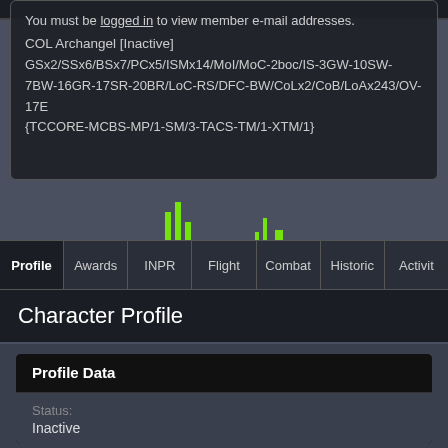You must be logged in to view member e-mail addresses.
COL Archangel [Inactive]
GSx2/SSx6/BSx7/PCx5/ISMx14/MoI/MoC-2boc/IS-3GW-10SW-7BW-16GR-17SR-20BR/LoC-RS/DFC-BW/CoLx2/CoB/LoAx243/OV-17E {TCCORE-MCBS-MP/1-SM/3-TACS-TM/1-XTM/1}
Profile | Awards | INPR | Flight | Combat | Historic | Activit
Character Profile
Profile Data
Status:
Inactive